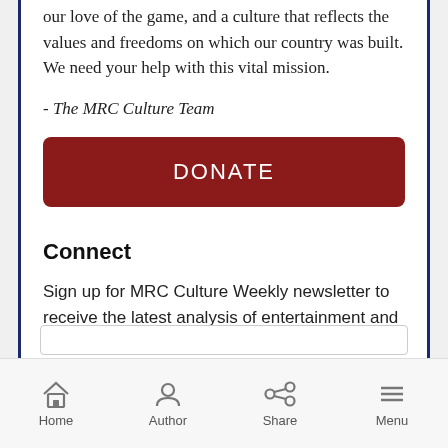our love of the game, and a culture that reflects the values and freedoms on which our country was built. We need your help with this vital mission.
- The MRC Culture Team
DONATE
Connect
Sign up for MRC Culture Weekly newsletter to receive the latest analysis of entertainment and sports.
Home  Author  Share  Menu